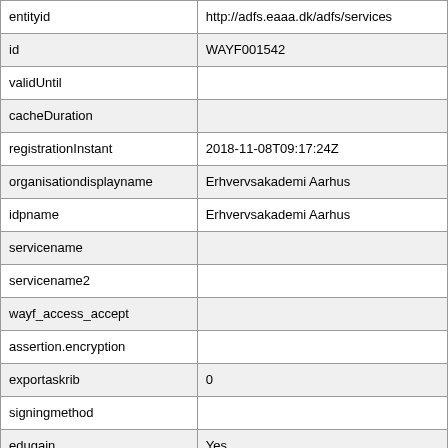| entityid | http://adfs.eaaa.dk/adfs/services |
| id | WAYF001542 |
| validUntil |  |
| cacheDuration |  |
| registrationInstant | 2018-11-08T09:17:24Z |
| organisationdisplayname | Erhvervsakademi Aarhus |
| idpname | Erhvervsakademi Aarhus |
| servicename |  |
| servicename2 |  |
| wayf_access_accept |  |
| assertion.encryption |  |
| exportaskrib | 0 |
| signingmethod |  |
| edugain | Yes |
| modified | 2022-05-25T09:25:15Z |
| spapproved |  |
| phphfeed |  |
| cat | dkea.dk |